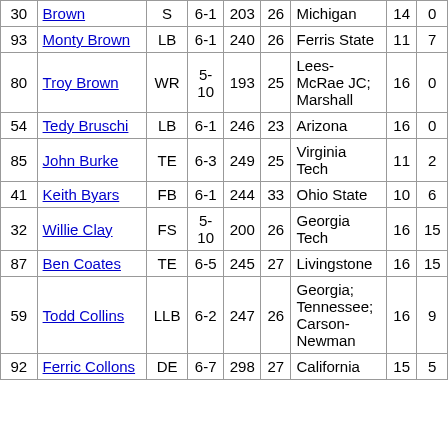| # | Name | Pos | Ht | Wt | Age | School | GP | GS |
| --- | --- | --- | --- | --- | --- | --- | --- | --- |
| 30 | Brown | S | 6-1 | 203 | 26 | Michigan | 14 | 0 |
| 93 | Monty Brown | LB | 6-1 | 240 | 26 | Ferris State | 11 | 7 |
| 80 | Troy Brown | WR | 5-10 | 193 | 25 | Lees-McRae JC; Marshall | 16 | 0 |
| 54 | Tedy Bruschi | LB | 6-1 | 246 | 23 | Arizona | 16 | 0 |
| 85 | John Burke | TE | 6-3 | 249 | 25 | Virginia Tech | 11 | 2 |
| 41 | Keith Byars | FB | 6-1 | 244 | 33 | Ohio State | 10 | 6 |
| 32 | Willie Clay | FS | 5-10 | 200 | 26 | Georgia Tech | 16 | 15 |
| 87 | Ben Coates | TE | 6-5 | 245 | 27 | Livingstone | 16 | 15 |
| 59 | Todd Collins | LLB | 6-2 | 247 | 26 | Georgia; Tennessee; Carson-Newman | 16 | 9 |
| 92 | Ferric Collons | DE | 6-7 | 298 | 27 | California | 15 | 5 |